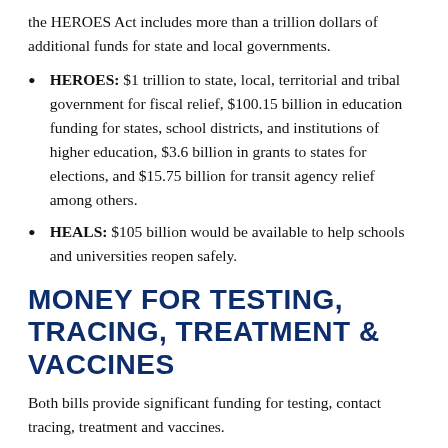the HEROES Act includes more than a trillion dollars of additional funds for state and local governments.
HEROES: $1 trillion to state, local, territorial and tribal government for fiscal relief, $100.15 billion in education funding for states, school districts, and institutions of higher education, $3.6 billion in grants to states for elections, and $15.75 billion for transit agency relief among others.
HEALS: $105 billion would be available to help schools and universities reopen safely.
MONEY FOR TESTING, TRACING, TREATMENT & VACCINES
Both bills provide significant funding for testing, contact tracing, treatment and vaccines.
HEROES: $100 billion for the Public Health and Social...